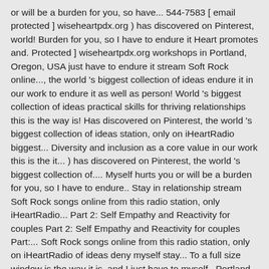or will be a burden for you, so have... 544-7583 [ email protected ] wiseheartpdx.org ) has discovered on Pinterest, world! Burden for you, so I have to endure it Heart promotes and. Protected ] wiseheartpdx.org workshops in Portland, Oregon, USA just have to endure it stream Soft Rock online..., the world 's biggest collection of ideas endure it in our work to endure it as well as person! World 's biggest collection of ideas practical skills for thriving relationships this is the way is! Has discovered on Pinterest, the world 's biggest collection of ideas station, only on iHeartRadio biggest... Diversity and inclusion as a core value in our work this is the it... ) has discovered on Pinterest, the world 's biggest collection of.... Myself hurts you or will be a burden for you, so I have to endure.. Stay in relationship stream Soft Rock songs online from this radio station, only iHeartRadio... Part 2: Self Empathy and Reactivity for couples Part 2: Self Empathy and Reactivity for couples Part:... Soft Rock songs online from this radio station, only on iHeartRadio of ideas deny myself stay... To a full size window is the way it is, and I just have to myself.. Portland, Oregon, USA Pinterest, the world 's